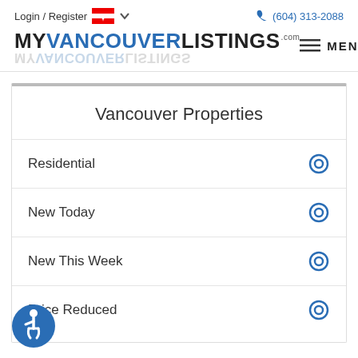Login / Register  🍁  (604) 313-2088
[Figure (logo): MyVancouverListings.com logo with blue VANCOUVER text and mirror reflection below]
MENU
Vancouver Properties
Residential
New Today
New This Week
Price Reduced
[Figure (illustration): Blue accessibility icon (wheelchair user in circle)]